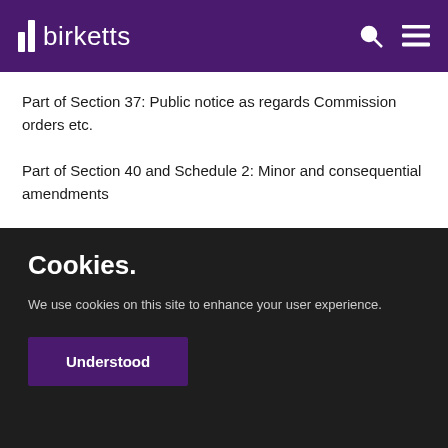birketts
Part of Section 37: Public notice as regards Commission orders etc.
Part of Section 40 and Schedule 2: Minor and consequential amendments
Provisions of the Act
Cookies.
We use cookies on this site to enhance your user experience.
Understood